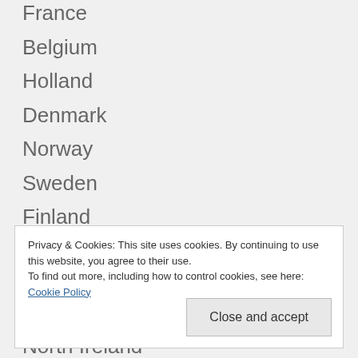France
Belgium
Holland
Denmark
Norway
Sweden
Finland
Estonia
Latvia
Poland
Privacy & Cookies: This site uses cookies. By continuing to use this website, you agree to their use. To find out more, including how to control cookies, see here: Cookie Policy
North Ireland